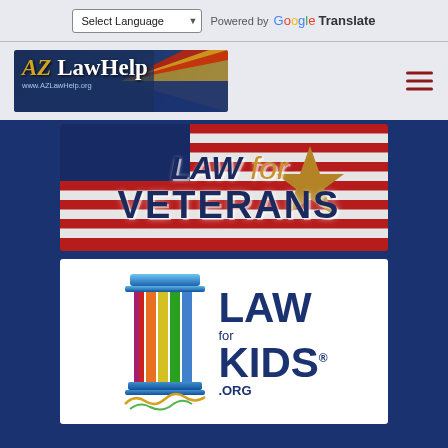[Figure (screenshot): Top navigation bar with Select Language dropdown and Google Translate branding]
[Figure (logo): AZ Law Help logo with Arizona flag background and text www.AZLawHelp.org]
[Figure (illustration): Law for Veterans banner with American flag background, star graphic, and bold text reading LAW for VETERANS]
[Figure (logo): Law for Kids logo with rainbow-colored pillar graphic and text LAW for KIDS.ORG]